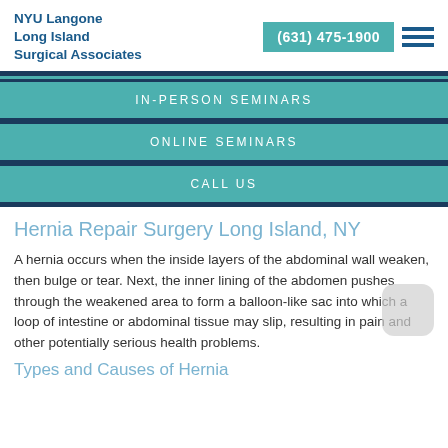NYU Langone Long Island Surgical Associates | (631) 475-1900
IN-PERSON SEMINARS
ONLINE SEMINARS
CALL US
Hernia Repair Surgery Long Island, NY
A hernia occurs when the inside layers of the abdominal wall weaken, then bulge or tear. Next, the inner lining of the abdomen pushes through the weakened area to form a balloon-like sac into which a loop of intestine or abdominal tissue may slip, resulting in pain and other potentially serious health problems.
Types and Causes of Hernia